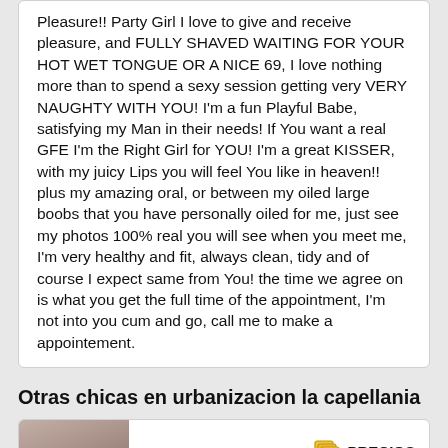Pleasure!! Party Girl I love to give and receive pleasure, and FULLY SHAVED WAITING FOR YOUR HOT WET TONGUE OR A NICE 69, I love nothing more than to spend a sexy session getting very VERY NAUGHTY WITH YOU! I'm a fun Playful Babe, satisfying my Man in their needs! If You want a real GFE I'm the Right Girl for YOU! I'm a great KISSER, with my juicy Lips you will feel You like in heaven!! plus my amazing oral, or between my oiled large boobs that you have personally oiled for me, just see my photos 100% real you will see when you meet me, I'm very healthy and fit, always clean, tidy and of course I expect same from You! the time we agree on is what you get the full time of the appointment, I'm not into you cum and go, call me to make a appointement.
Otras chicas en urbanizacion la capellania
[Figure (photo): Thumbnail photo of a woman, partially visible at bottom of page]
PRECIOS